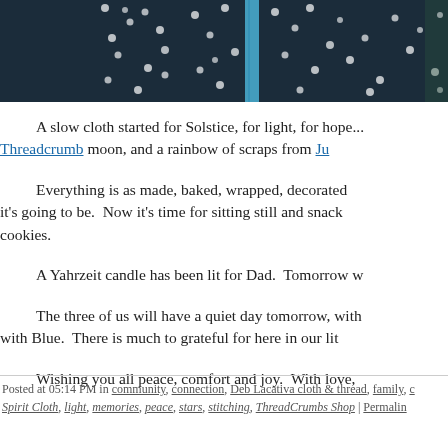[Figure (photo): Close-up photo of dark navy blue polka-dot fabric with white dots, with a light blue stitched seam visible in the center.]
A slow cloth started for Solstice, for light, for hope... Threadcrumb moon, and a rainbow of scraps from Ju
Everything is as made, baked, wrapped, decorated it's going to be.  Now it's time for sitting still and snack cookies.
A Yahrzeit candle has been lit for Dad.  Tomorrow w
The three of us will have a quiet day tomorrow, with with Blue.  There is much to grateful for here in our lit
Wishing you all peace, comfort and joy.  With love,
Posted at 05:14 PM in community, connection, Deb Lacativa cloth & thread, family, Spirit Cloth, light, memories, peace, stars, stitching, ThreadCrumbs Shop | Permalin